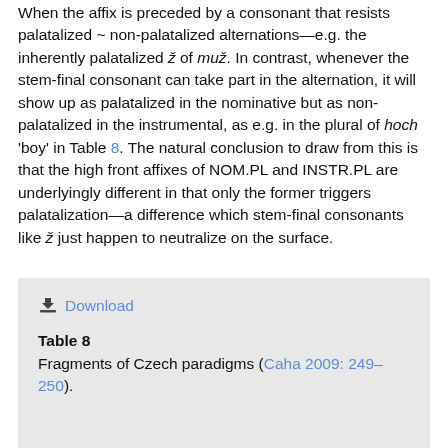When the affix is preceded by a consonant that resists palatalized ~ non-palatalized alternations—e.g. the inherently palatalized ž of muž. In contrast, whenever the stem-final consonant can take part in the alternation, it will show up as palatalized in the nominative but as non-palatalized in the instrumental, as e.g. in the plural of hoch 'boy' in Table 8. The natural conclusion to draw from this is that the high front affixes of NOM.PL and INSTR.PL are underlyingly different in that only the former triggers palatalization—a difference which stem-final consonants like ž just happen to neutralize on the surface.
Table 8
Fragments of Czech paradigms (Caha 2009: 249–250).